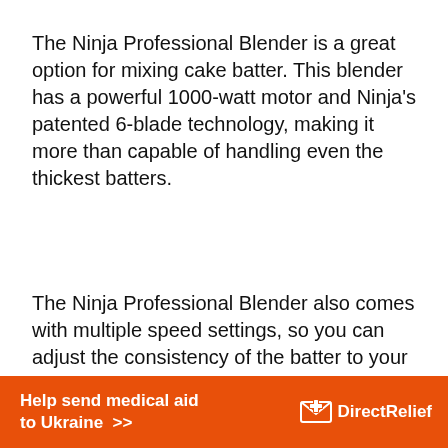The Ninja Professional Blender is a great option for mixing cake batter. This blender has a powerful 1000-watt motor and Ninja's patented 6-blade technology, making it more than capable of handling even the thickest batters.
The Ninja Professional Blender also comes with multiple speed settings, so you can adjust the consistency of the batter to your liking. Plus, the Pulse function is perfect for getting rid of any
[Figure (other): Orange banner advertisement: 'Help send medical aid to Ukraine >>' with Direct Relief logo (white envelope icon and white text 'DirectRelief')]